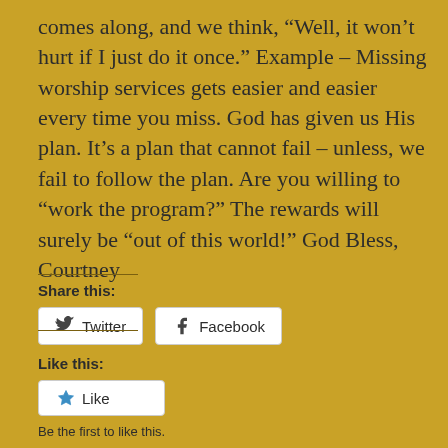comes along, and we think, “Well, it won’t hurt if I just do it once.” Example – Missing worship services gets easier and easier every time you miss. God has given us His plan. It’s a plan that cannot fail – unless, we fail to follow the plan. Are you willing to “work the program?” The rewards will surely be “out of this world!” God Bless, Courtney
Share this:
[Figure (other): Twitter and Facebook share buttons]
Like this:
[Figure (other): Like button]
Be the first to like this.